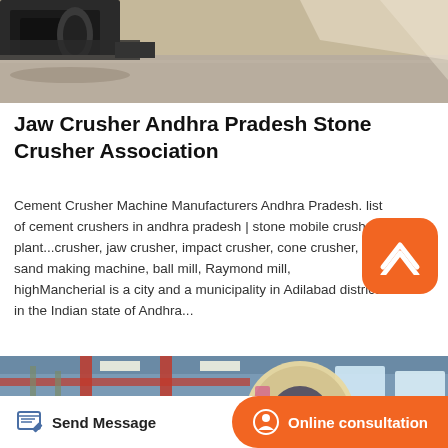[Figure (photo): Industrial machinery/equipment in a warehouse or factory floor, showing mechanical parts and concrete floor.]
Jaw Crusher Andhra Pradesh Stone Crusher Association
Cement Crusher Machine Manufacturers Andhra Pradesh. list of cement crushers in andhra pradesh | stone mobile crusher plant...crusher, jaw crusher, impact crusher, cone crusher, sand making machine, ball mill, Raymond mill, highMancherial is a city and a municipality in Adilabad district in the Indian state of Andhra...
[Figure (photo): Industrial jaw crusher machine in a large factory/warehouse with red structural beams overhead.]
Send Message
Online consultation